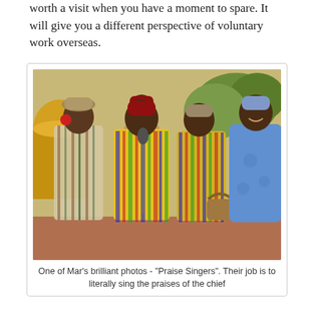worth a visit when you have a moment to spare. It will give you a different perspective of voluntary work overseas.
[Figure (photo): A group of five men in traditional West African attire, some wearing kente cloth, standing outdoors near a microphone stand. A large yellow container is visible in the background along with trees.]
One of Mar's brilliant photos - "Praise Singers". Their job is to literally sing the praises of the chief